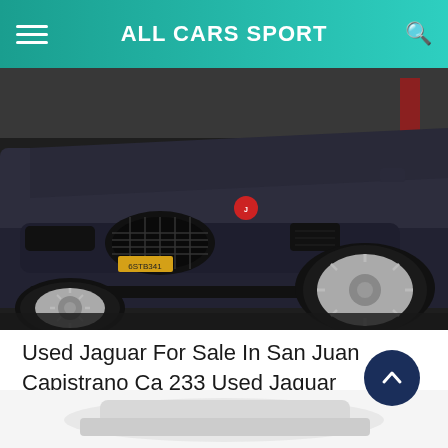ALL CARS SPORT
[Figure (photo): Front view of a dark grey Jaguar F-Type sports car photographed from low angle, showing the grille, front bumper, and alloy wheel, parked indoors.]
Used Jaguar For Sale In San Juan Capistrano Ca 233 Used Jaguar
[Figure (photo): Partial view of a white car at the bottom of the page, mostly cut off.]